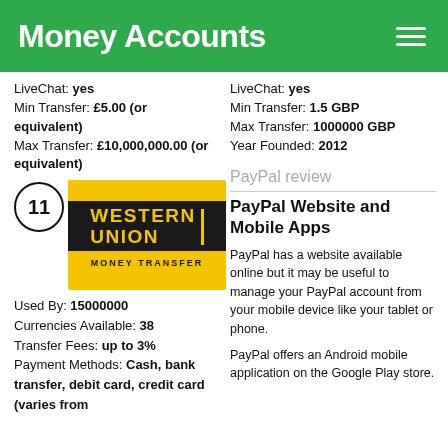Money Accounts
LiveChat: yes
Min Transfer: £5.00 (or equivalent)
Max Transfer: £10,000,000.00 (or equivalent)
[Figure (logo): Western Union Money Transfer logo — yellow background, black banner with WESTERN UNION text in gold, MONEY TRANSFER below]
Used By: 15000000
Currencies Available: 38
Transfer Fees: up to 3%
Payment Methods: Cash, bank transfer, debit card, credit card (varies from
LiveChat: yes
Min Transfer: 1.5 GBP
Max Transfer: 1000000 GBP
Year Founded: 2012
PayPal review
PayPal Website and Mobile Apps
PayPal has a website available online but it may be useful to manage your PayPal account from your mobile device like your tablet or phone.
PayPal offers an Android mobile application on the Google Play store.